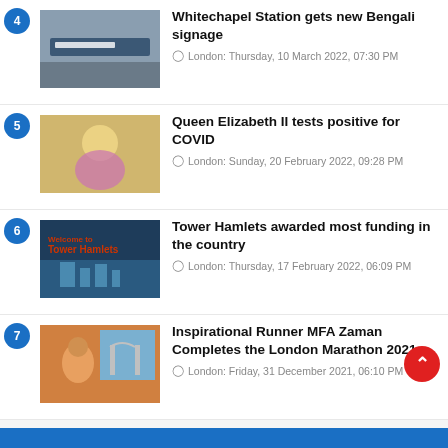4 Whitechapel Station gets new Bengali signage — London: Thursday, 10 March 2022, 07:30 PM
5 Queen Elizabeth II tests positive for COVID — London: Sunday, 20 February 2022, 09:28 PM
6 Tower Hamlets awarded most funding in the country — London: Thursday, 17 February 2022, 06:09 PM
7 Inspirational Runner MFA Zaman Completes the London Marathon 2021 — London: Friday, 31 December 2021, 06:10 PM